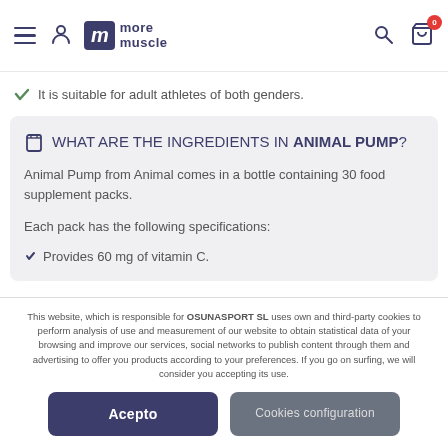more muscle — navigation header
✓ It is suitable for adult athletes of both genders.
WHAT ARE THE INGREDIENTS IN ANIMAL PUMP?
Animal Pump from Animal comes in a bottle containing 30 food supplement packs.
Each pack has the following specifications:
Provides 60 mg of vitamin C.
This website, which is responsible for OSUNASPORT SL uses own and third-party cookies to perform analysis of use and measurement of our website to obtain statistical data of your browsing and improve our services, social networks to publish content through them and advertising to offer you products according to your preferences. If you go on surfing, we will consider you accepting its use.
Acepto
Cookies configuration